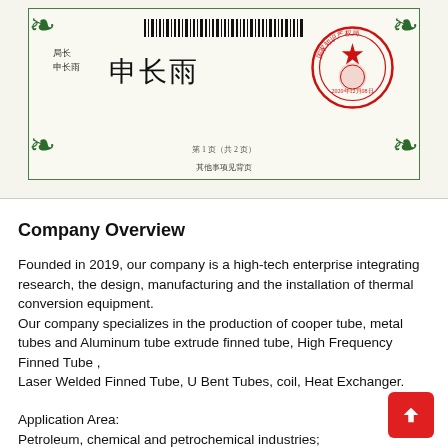[Figure (photo): Chinese intellectual property certificate with red official seal (国家知识产权局, dated 2020年12月08日), barcode at top, signature 申长雨 in Chinese calligraphy, decorative green border corners, page label 第1页(共2页) and note 其他事项见背页]
Company Overview
Founded in 2019, our company is a high-tech enterprise integrating research, the design, manufacturing and the installation of thermal conversion equipment.
Our company specializes in the production of cooper tube, metal tubes and Aluminum tube extrude finned tube, High Frequency Finned Tube ,
Laser Welded Finned Tube, U Bent Tubes, coil, Heat Exchanger.
Application Area:
Petroleum, chemical and petrochemical industries;
Environment Energy saving,